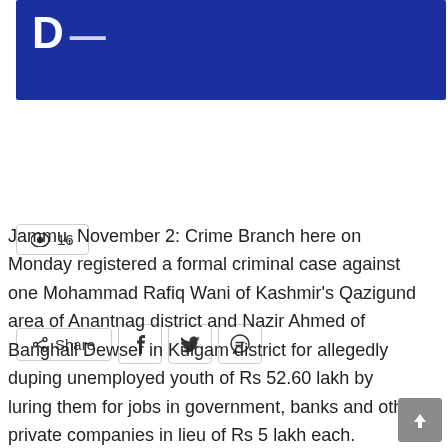[Figure (other): Blue banner header image of a news website]
👁 16
Share (social share buttons: Facebook, Twitter, WhatsApp)
Jammu, November 2: Crime Branch here on Monday registered a formal criminal case against one Mohammad Rafiq Wani of Kashmir's Qazigund area of Anantnag district and Nazir Ahmed of Banghall Dewser in Kulgam district for allegedly duping unemployed youth of Rs 52.60 lakh by luring them for jobs in government, banks and other private companies in lieu of Rs 5 lakh each.